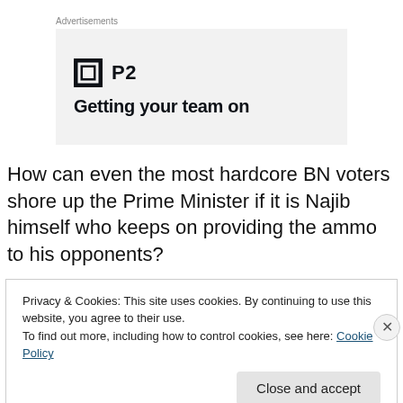Advertisements
[Figure (other): Advertisement banner with P2 logo and text 'Getting your team on']
How can even the most hardcore BN voters shore up the Prime Minister if it is Najib himself who keeps on providing the ammo to his opponents?
Privacy & Cookies: This site uses cookies. By continuing to use this website, you agree to their use.
To find out more, including how to control cookies, see here: Cookie Policy
Close and accept